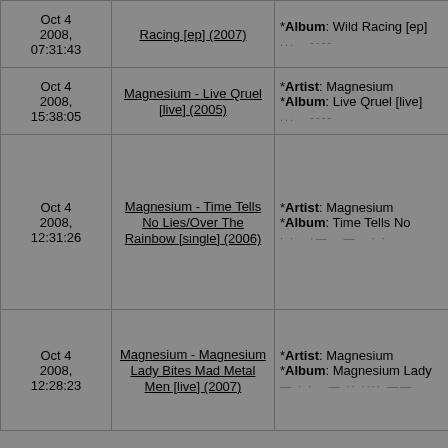| Date | Title | Info | Tags |
| --- | --- | --- | --- |
| Oct 4 2008, 07:31:43 | Wild Racing [ep] (2007) | *Artist: ...
*Album: Wild Racing [ep]
... | hmm
maco
ozm... |
| Oct 4 2008, 15:38:05 | Magnesium - Live Qruel [live] (2005) | *Artist: Magnesium
*Album: Live Qruel [live]
... | (3) B
dese
mac... |
| Oct 4 2008, 12:31:26 | Magnesium - Time Tells No Lies/Over The Rainbow [single] (2006) | *Artist: Magnesium
*Album: Time Tells No
... | (10)
gam
garre
HMH
mac
sata
Sata
storm
varla |
| Oct 4 2008, 12:28:23 | Magnesium - Magnesium Lady Bites Mad Metal Men [live] (2007) | *Artist: Magnesium
*Album: Magnesium Lady
... | (6) d
gam
garre
HMH
mac
sata |